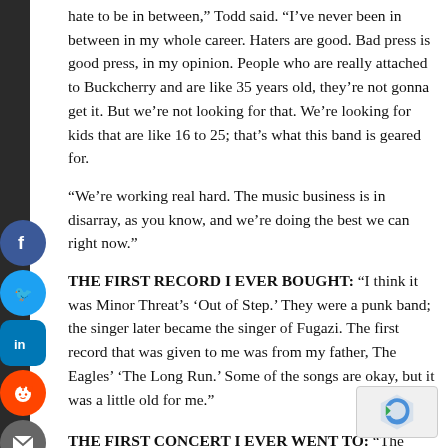hate to be in between,” Todd said. “I’ve never been in between in my whole career. Haters are good. Bad press is good press, in my opinion. People who are really attached to Buckcherry and are like 35 years old, they’re not gonna get it. But we’re not looking for that. We’re looking for kids that are like 16 to 25; that’s what this band is geared for.
“We’re working real hard. The music business is in disarray, as you know, and we’re doing the best we can right now.”
THE FIRST RECORD I EVER BOUGHT:
“I think it was Minor Threat’s ‘Out of Step.’ They were a punk band; the singer later became the singer of Fugazi. The first record that was given to me was from my father, The Eagles’ ‘The Long Run.’ Some of the songs are okay, but it was a little old for me.”
THE FIRST CONCERT I EVER WENT TO:
“The Ramones Foxboro Ballroom in Los Angeles, California, from it and...